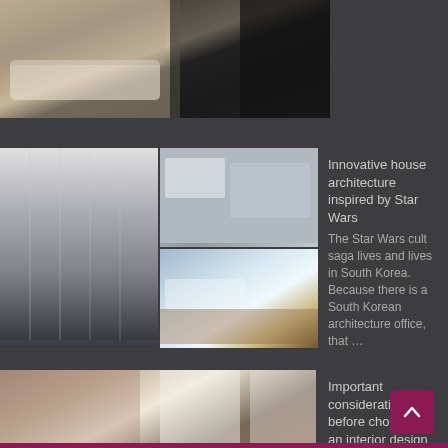[Figure (photo): Interior living room photo showing white sofa, brown accents, dark curtains]
[Figure (photo): Composite of architectural photos: modern white building exterior and interior spaces]
Innovative house architecture inspired by Star Wars
The Star Wars cult saga lives and lives in South Korea. Because there is a South Korean architecture office, that …
[Figure (photo): Interior loft space with brick walls, large windows, and a woman sitting on a brown leather sofa]
Important considerations before choosing an interior design for your home
We all want our homes to look and feel comfortable. It's a place where we spend a lot of time …